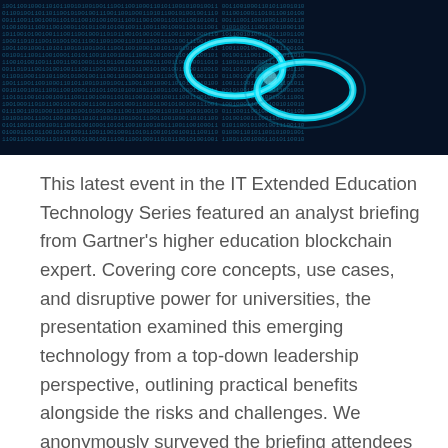[Figure (photo): Dark blue background with glowing binary code (0s and 1s) and a bright cyan DNA double helix or chain-link shape in the center-right area, representing blockchain/digital technology.]
This latest event in the IT Extended Education Technology Series featured an analyst briefing from Gartner's higher education blockchain expert. Covering core concepts, use cases, and disruptive power for universities, the presentation examined this emerging technology from a top-down leadership perspective, outlining practical benefits alongside the risks and challenges. We anonymously surveyed the briefing attendees for feedback.